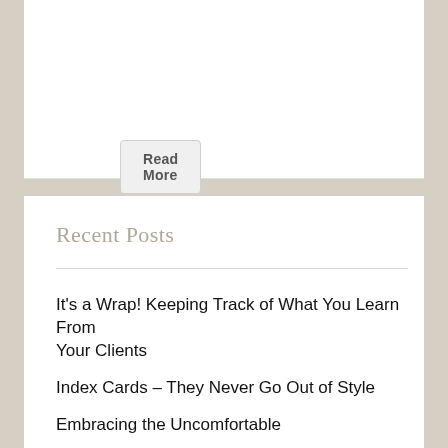Read More
Recent Posts
It's a Wrap! Keeping Track of What You Learn From Your Clients
Index Cards – They Never Go Out of Style
Embracing the Uncomfortable
Can a Freelancer Actually Have a Side Gig?
You Don't Have To Be Good At Everything